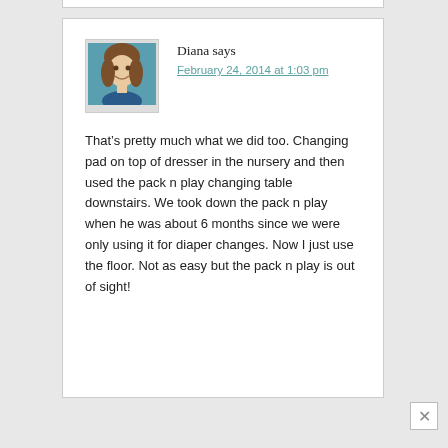[Figure (photo): Avatar photo of Diana, a woman with brown hair smiling, teal/blue background]
Diana says
February 24, 2014 at 1:03 pm
That’s pretty much what we did too. Changing pad on top of dresser in the nursery and then used the pack n play changing table downstairs. We took down the pack n play when he was about 6 months since we were only using it for diaper changes. Now I just use the floor. Not as easy but the pack n play is out of sight!